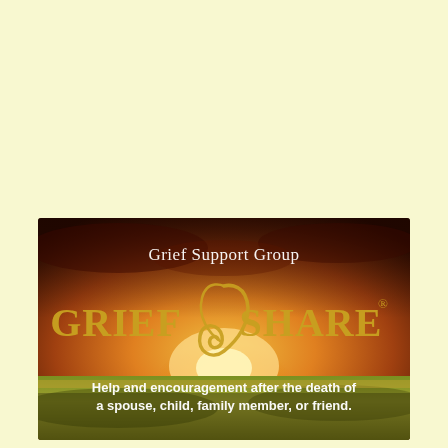[Figure (illustration): GriefShare promotional banner image with warm golden sunset sky over a field of wheat/grass. Text overlay reads 'Grief Support Group' at the top, large 'GriefShare®' logo in the center, and tagline 'Help and encouragement after the death of a spouse, child, family member, or friend.' at the bottom.]